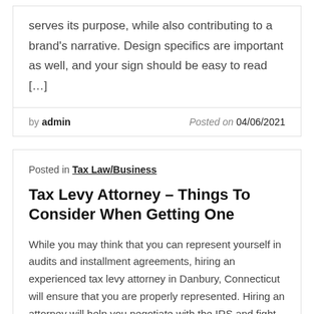serves its purpose, while also contributing to a brand's narrative. Design specifics are important as well, and your sign should be easy to read [...]
by admin   Posted on 04/06/2021
Posted in Tax Law/Business
Tax Levy Attorney – Things To Consider When Getting One
While you may think that you can represent yourself in audits and installment agreements, hiring an experienced tax levy attorney in Danbury, Connecticut will ensure that you are properly represented. Hiring an attorney will help you negotiate with the IRS and fight to keep your property or